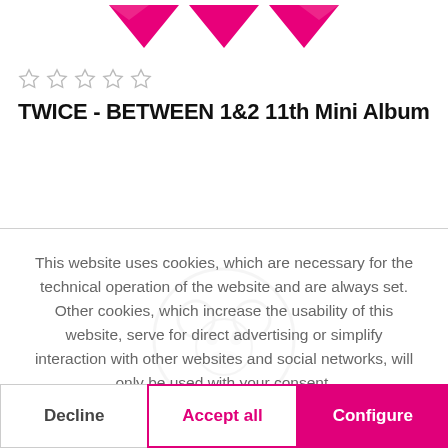[Figure (illustration): Three hot pink/magenta downward-pointing heart or chevron shapes at the top of the page, partially cropped]
[Figure (other): Five empty/unfilled star rating icons in gray]
TWICE - BETWEEN 1&2 11th Mini Album
This website uses cookies, which are necessary for the technical operation of the website and are always set. Other cookies, which increase the usability of this website, serve for direct advertising or simplify interaction with other websites and social networks, will only be used with your consent.
More information
Decline
Accept all
Configure